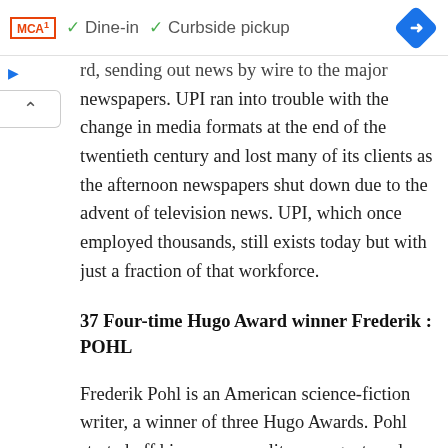[Figure (screenshot): Ad bar showing McDonald's logo, Dine-in checkmark option, Curbside pickup checkmark option, and a blue navigation diamond icon on the right]
rd, sending out news by wire to the major newspapers. UPI ran into trouble with the change in media formats at the end of the twentieth century and lost many of its clients as the afternoon newspapers shut down due to the advent of television news. UPI, which once employed thousands, still exists today but with just a fraction of that workforce.
37 Four-time Hugo Award winner Frederik : POHL
Frederik Pohl is an American science-fiction writer, a winner of three Hugo Awards. Pohl started off his career as a literary agent, and was the only agent